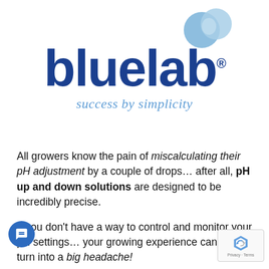[Figure (logo): Bluelab logo: two overlapping blue circles (bubbles) in the top right, large dark blue 'bluelab' text with registered trademark symbol, and light blue italic tagline 'success by simplicity']
All growers know the pain of miscalculating their pH adjustment by a couple of drops... after all, pH up and down solutions are designed to be incredibly precise.
If you don't have a way to control and monitor your pH settings... your growing experience can quickly turn into a big headache!